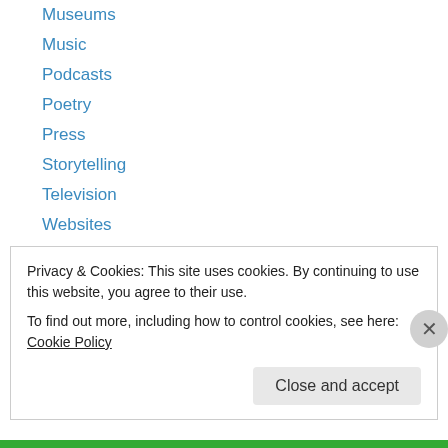Museums
Music
Podcasts
Poetry
Press
Storytelling
Television
Websites
Personal
Hobbies
Just for Fun
Reading
Stories
Privacy & Cookies: This site uses cookies. By continuing to use this website, you agree to their use.
To find out more, including how to control cookies, see here: Cookie Policy